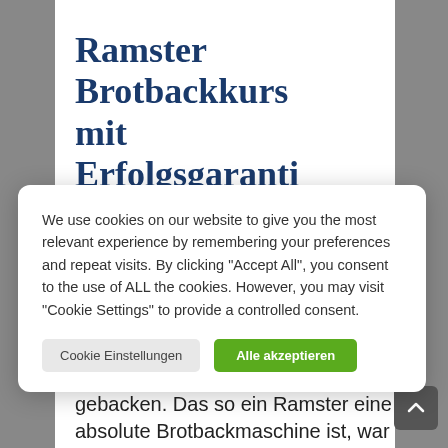Ramster Brotbackkurs mit Erfolgsgara...
We use cookies on our website to give you the most relevant experience by remembering your preferences and repeat visits. By clicking "Accept All", you consent to the use of ALL the cookies. However, you may visit "Cookie Settings" to provide a controlled consent.
Cookie Einstellungen  Ablehnen/Akzeptieren
Vorrangig haben wir Pizza, Flammkuchen oder die von den Kids so geliebten Weißbrote darin gebacken. Das so ein Ramster eine absolute Brotbackmaschine ist, war uns zwar bekannt, aber bis auf